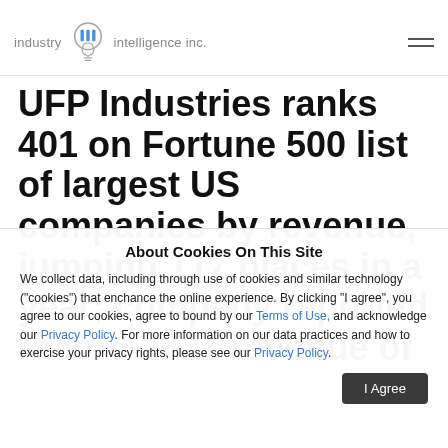[Figure (logo): Industry Intelligence Inc. logo with lightbulb icon and 'iii' text]
UFP Industries ranks 401 on Fortune 500 list of largest US companies by revenue, jumping 117 places in a year; company reported record 2021 revenue of
About Cookies On This Site
We collect data, including through use of cookies and similar technology ("cookies") that enchance the online experience. By clicking "I agree", you agree to our cookies, agree to bound by our Terms of Use, and acknowledge our Privacy Policy. For more information on our data practices and how to exercise your privacy rights, please see our Privacy Policy.